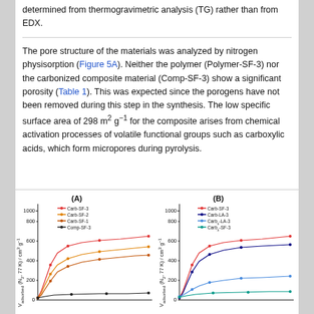determined from thermogravimetric analysis (TG) rather than from EDX.
The pore structure of the materials was analyzed by nitrogen physisorption (Figure 5A). Neither the polymer (Polymer-SF-3) nor the carbonized composite material (Comp-SF-3) show a significant porosity (Table 1). This was expected since the porogens have not been removed during this step in the synthesis. The low specific surface area of 298 m² g⁻¹ for the composite arises from chemical activation processes of volatile functional groups such as carboxylic acids, which form micropores during pyrolysis.
[Figure (line-chart): Line chart showing V_adsorbed (N2, 77K) / cm3 g-1 vs relative pressure for Carb-SF-3, Carb-SF-2, Carb-SF-1, Comp-SF-3]
[Figure (line-chart): Line chart showing V_adsorbed (N2, 77K) / cm3 g-1 vs relative pressure for Carb-SF-3, Carb-LA-3, Carb_x-LA-3, Carb_x-SF-3]